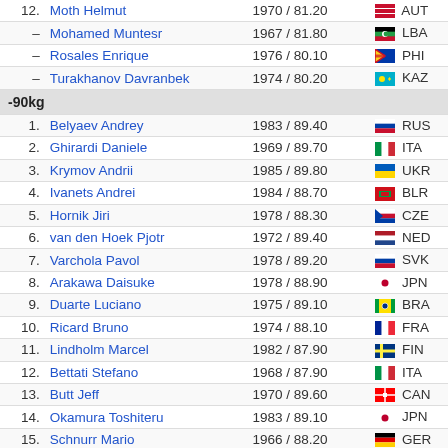| Rank | Name | Year / Weight | Country |
| --- | --- | --- | --- |
| 12. | Moth Helmut | 1970 / 81.20 | AUT |
| – | Mohamed Muntesr | 1967 / 81.80 | LBA |
| – | Rosales Enrique | 1976 / 80.10 | PHI |
| – | Turakhanov Davranbek | 1974 / 80.20 | KAZ |
| -90kg |  |  |  |
| 1. | Belyaev Andrey | 1983 / 89.40 | RUS |
| 2. | Ghirardi Daniele | 1969 / 89.70 | ITA |
| 3. | Krymov Andrii | 1985 / 89.80 | UKR |
| 4. | Ivanets Andrei | 1984 / 88.70 | BLR |
| 5. | Hornik Jiri | 1978 / 88.30 | CZE |
| 6. | van den Hoek Pjotr | 1972 / 89.40 | NED |
| 7. | Varchola Pavol | 1978 / 89.20 | SVK |
| 8. | Arakawa Daisuke | 1978 / 88.90 | JPN |
| 9. | Duarte Luciano | 1975 / 89.10 | BRA |
| 10. | Ricard Bruno | 1974 / 88.10 | FRA |
| 11. | Lindholm Marcel | 1982 / 87.90 | FIN |
| 12. | Bettati Stefano | 1968 / 87.90 | ITA |
| 13. | Butt Jeff | 1970 / 89.60 | CAN |
| 14. | Okamura Toshiteru | 1983 / 89.10 | JPN |
| 15. | Schnurr Mario | 1966 / 88.20 | GER |
| 16. | Ziffle Aaron | 1981 / 88.60 | CAN |
| 17. | Jamal Hamid | 1971 / 87.60 | MOR |